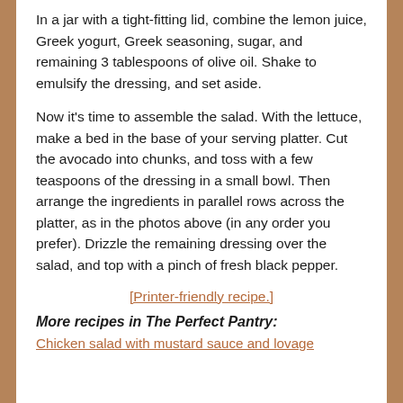In a jar with a tight-fitting lid, combine the lemon juice, Greek yogurt, Greek seasoning, sugar, and remaining 3 tablespoons of olive oil. Shake to emulsify the dressing, and set aside.
Now it's time to assemble the salad. With the lettuce, make a bed in the base of your serving platter. Cut the avocado into chunks, and toss with a few teaspoons of the dressing in a small bowl. Then arrange the ingredients in parallel rows across the platter, as in the photos above (in any order you prefer). Drizzle the remaining dressing over the salad, and top with a pinch of fresh black pepper.
[Printer-friendly recipe.]
More recipes in The Perfect Pantry:
Chicken salad with mustard sauce and lovage